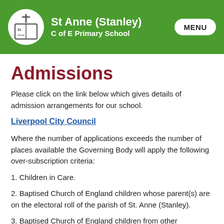St Anne (Stanley) C of E Primary School
Admissions
Please click on the link below which gives details of admission arrangements for our school.
Liverpool City Council
Where the number of applications exceeds the number of places available the Governing Body will apply the following over-subscription criteria:
1. Children in Care.
2. Baptised Church of England children whose parent(s) are on the electoral roll of the parish of St. Anne (Stanley).
3. Baptised Church of England children from other